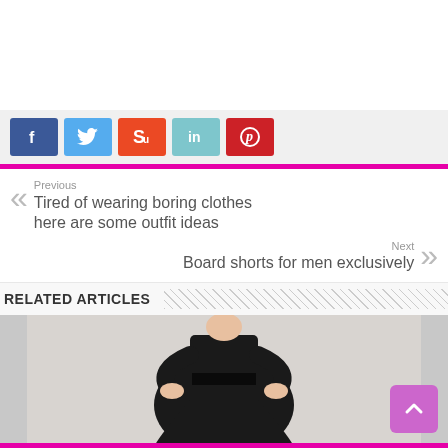[Figure (other): Social sharing buttons: Facebook (blue), Twitter (light blue), StumbleUpon (orange-red), LinkedIn (teal), Pinterest (red)]
Previous
Tired of wearing boring clothes here are some outfit ideas
Next
Board shorts for men exclusively
RELATED ARTICLES
[Figure (photo): Photo of a woman wearing a black outfit with a belt, hands on hips, gray background]